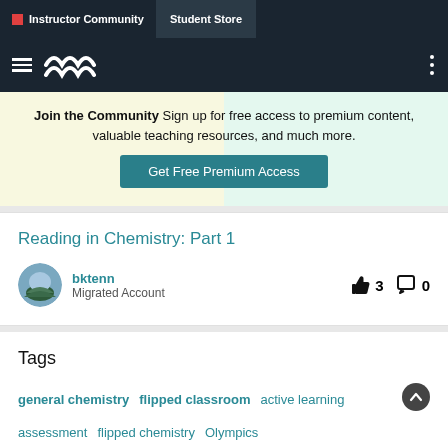Instructor Community | Student Store
[Figure (logo): Hamburger menu icon and wave logo on dark nav bar]
Join the Community  Sign up for free access to premium content, valuable teaching resources, and much more.
Get Free Premium Access
Reading in Chemistry: Part 1
bktenn
Migrated Account
Tags
general chemistry
flipped classroom
active learning
assessment
flipped chemistry
Olympics